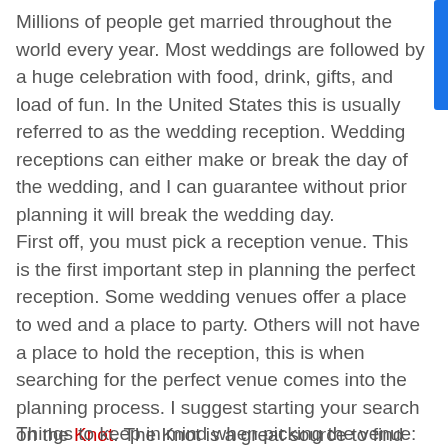Millions of people get married throughout the world every year. Most weddings are followed by a huge celebration with food, drink, gifts, and load of fun. In the United States this is usually referred to as the wedding reception. Wedding receptions can either make or break the day of the wedding, and I can guarantee without prior planning it will break the wedding day. First off, you must pick a reception venue. This is the first important step in planning the perfect reception. Some wedding venues offer a place to wed and a place to party. Others will not have a place to hold the reception, this is when searching for the perfect venue comes into the planning process. I suggest starting your search on the Knot. The Knot is a great source to find all the venues in your area. Things to keep in mind when picking the venue: